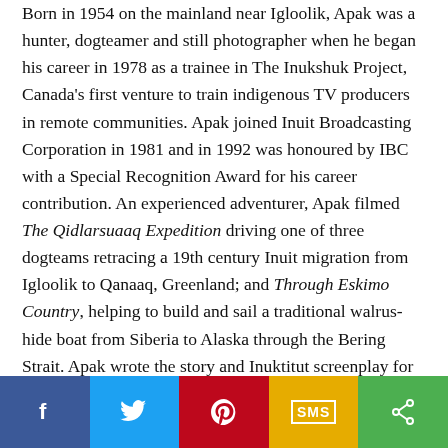Born in 1954 on the mainland near Igloolik, Apak was a hunter, dogteamer and still photographer when he began his career in 1978 as a trainee in The Inukshuk Project, Canada's first venture to train indigenous TV producers in remote communities. Apak joined Inuit Broadcasting Corporation in 1981 and in 1992 was honoured by IBC with a Special Recognition Award for his career contribution. An experienced adventurer, Apak filmed The Qidlarsuaaq Expedition driving one of three dogteams retracing a 19th century Inuit migration from Igloolik to Qanaaq, Greenland; and Through Eskimo Country, helping to build and sail a traditional walrus-hide boat from Siberia to Alaska through the Bering Strait. Apak wrote the story and Inuktitut screenplay for Atanarjuat The Fast Runner based on interviews with elders. He passed away in December 1998 before the film was completed.
[Figure (infographic): Social share bar with five buttons: Facebook (blue), Twitter (light blue), Pinterest (red), SMS (yellow), Share (green)]